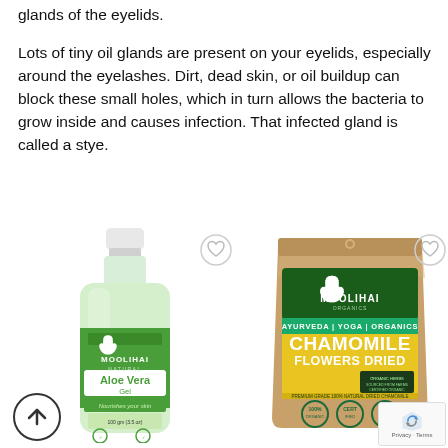glands of the eyelids.
Lots of tiny oil glands are present on your eyelids, especially around the eyelashes. Dirt, dead skin, or oil buildup can block these small holes, which in turn allows the bacteria to grow inside and causes infection. That infected gland is called a stye.
[Figure (photo): Moolihai Aloe Vera Gel product bottle with green label]
[Figure (photo): Moolihai Chamomile Flowers Dried product in kraft pouch with yellow label reading AYURVEDA | YOGA | ORGANICS, CHAMOMILE FLOWERS DRIED]